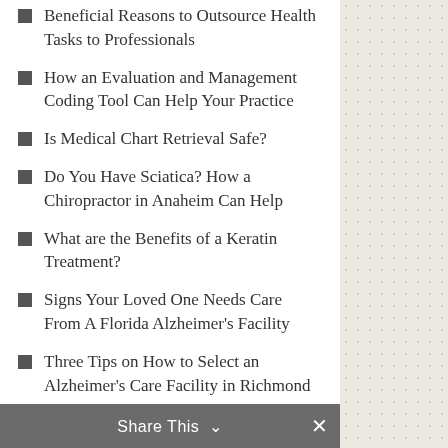Beneficial Reasons to Outsource Health Tasks to Professionals
How an Evaluation and Management Coding Tool Can Help Your Practice
Is Medical Chart Retrieval Safe?
Do You Have Sciatica? How a Chiropractor in Anaheim Can Help
What are the Benefits of a Keratin Treatment?
Signs Your Loved One Needs Care From A Florida Alzheimer's Facility
Three Tips on How to Select an Alzheimer's Care Facility in Richmond
Could Lip Fillers in Rancho Cucamonga Change Your Look?
Tips for Getting Your Medical Card in Michigan
Getting Your Medical Marijuana Card in Philadelphia
What a Clinical Documentation